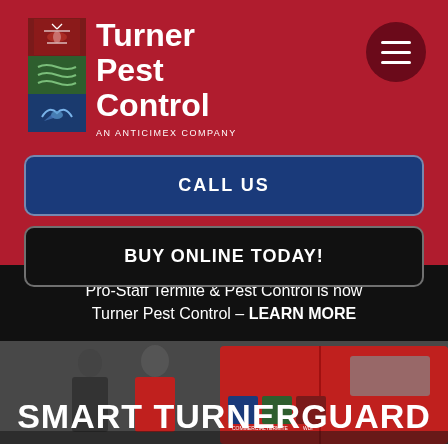[Figure (logo): Turner Pest Control logo with icon blocks (pest, ground, bird) and text 'Turner Pest Control, An Anticimex Company']
[Figure (other): Hamburger menu button (three horizontal lines) inside a dark circle]
CALL US
BUY ONLINE TODAY!
Pro-Staff Termite & Pest Control is now Turner Pest Control – LEARN MORE
[Figure (photo): Photo background showing two people near a red Turner Pest Control van with service icons visible]
SMART TURNERGUARD